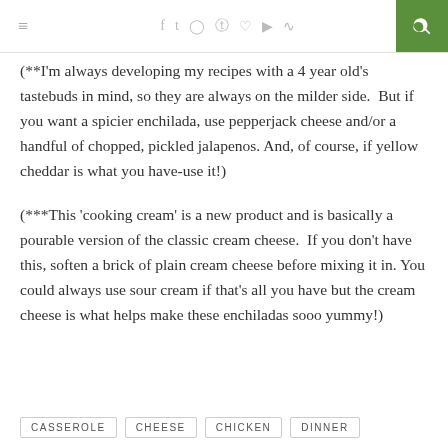≡ [social icons] [search]
(**I'm always developing my recipes with a 4 year old's tastebuds in mind, so they are always on the milder side.  But if you want a spicier enchilada, use pepperjack cheese and/or a handful of chopped, pickled jalapenos. And, of course, if yellow cheddar is what you have-use it!)
(***This 'cooking cream' is a new product and is basically a pourable version of the classic cream cheese.  If you don't have this, soften a brick of plain cream cheese before mixing it in. You could always use sour cream if that's all you have but the cream cheese is what helps make these enchiladas sooo yummy!)
CASSEROLE
CHEESE
CHICKEN
DINNER